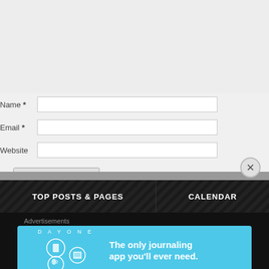Name *
Email *
Website
Post Comment
Notify me of new comments via email.
Notify me of new posts via email.
This site uses Akismet to reduce spam. Learn how your comment data is processed.
TOP POSTS & PAGES
CALENDAR
Advertisements
[Figure (screenshot): DAY ONE app advertisement banner — 'The only journaling app you'll ever need.' with cartoon icons on a blue background]